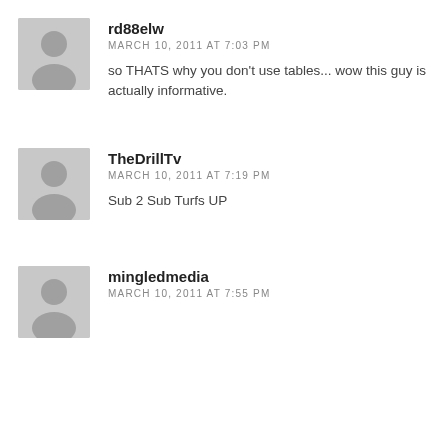rd88elw
MARCH 10, 2011 AT 7:03 PM
so THATS why you don't use tables... wow this guy is actually informative.
TheDrillTv
MARCH 10, 2011 AT 7:19 PM
Sub 2 Sub Turfs UP
mingledmedia
MARCH 10, 2011 AT 7:55 PM